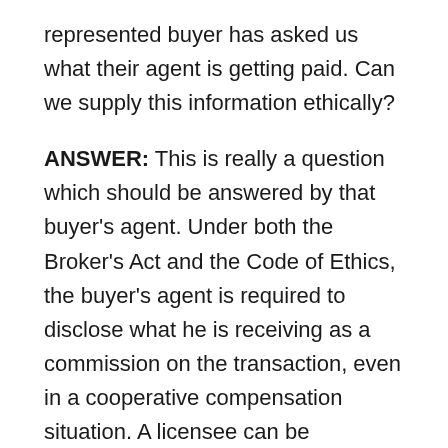represented buyer has asked us what their agent is getting paid. Can we supply this information ethically?
ANSWER: This is really a question which should be answered by that buyer's agent. Under both the Broker's Act and the Code of Ethics, the buyer's agent is required to disclose what he is receiving as a commission on the transaction, even in a cooperative compensation situation. A licensee can be punished for "(17) Paying or accepting, giving or charging any undisclosed commission, rebate, compensation or profit or expenditures